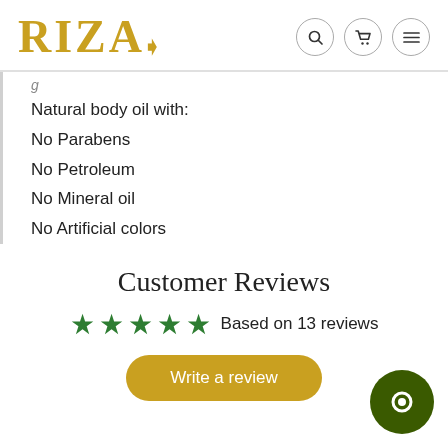RIZA
Natural body oil with:
No Parabens
No Petroleum
No Mineral oil
No Artificial colors
Customer Reviews
★★★★★ Based on 13 reviews
Write a review